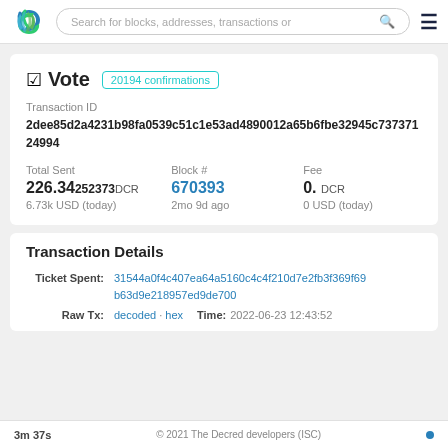Search for blocks, addresses, transactions or
Vote  20194 confirmations
Transaction ID
2dee85d2a4231b98fa0539c51c1e53ad4890012a65b6fbe32945c73737124994
| Total Sent | Block # | Fee |
| --- | --- | --- |
| 226.34252373 DCR | 670393 | 0. DCR |
| 6.73k USD (today) | 2mo 9d ago | 0 USD (today) |
Transaction Details
Ticket Spent: 31544a0f4c407ea64a5160c4c4f210d7e2fb3f369f69b63d9e218957ed9de700
Raw Tx: decoded · hex   Time: 2022-06-23 12:43:52
3m 37s   © 2021 The Decred developers (ISC)